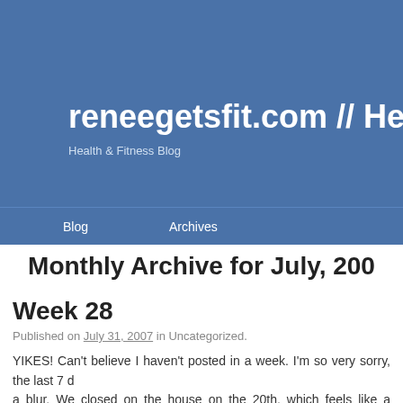reneegetsfit.com // Health & Fitness Blog
Health & Fitness Blog
Blog   Archives
Monthly Archive for July, 2007
Week 28
Published on July 31, 2007 in Uncategorized.
YIKES! Can't believe I haven't posted in a week. I'm so very sorry, the last 7 days have been a blur. We closed on the house on the 20th, which feels like a month ago, and I've been packing like a madwoman. My last day here is on Tuesday and I spent all week boxing things up and carting them over. I'm pooped, and the real fun hasn't even begu